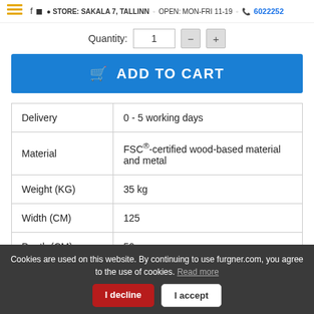STORE: SAKALA 7, TALLINN   OPEN: MON-FRI 11-19   6022252
Quantity: 1
ADD TO CART
|  |  |
| --- | --- |
| Delivery | 0 - 5 working days |
| Material | FSC®-certified wood-based material and metal |
| Weight (KG) | 35 kg |
| Width (CM) | 125 |
| Depth (CM) | 50 |
Cookies are used on this website. By continuing to use furgner.com, you agree to the use of cookies. Read more   I decline   I accept